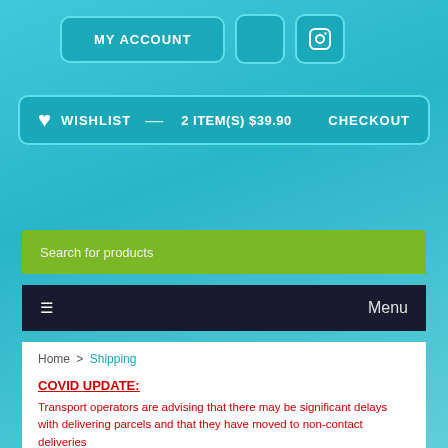[Figure (screenshot): Website header with MY ACCOUNT button, social media icon buttons, wishlist bar showing 2 items $39.90 and checkout, search bar, navigation bar with Menu, breadcrumb Home > Shipping, and COVID UPDATE section]
MY ACCOUNT
WISHLIST — 2 ITEM(S) $39.90 CHECKOUT
Search for products
Menu
Home > Shipping
COVID UPDATE:
Transport operators are advising that there may be significant delays with delivering parcels and that they have moved to non-contact deliveries